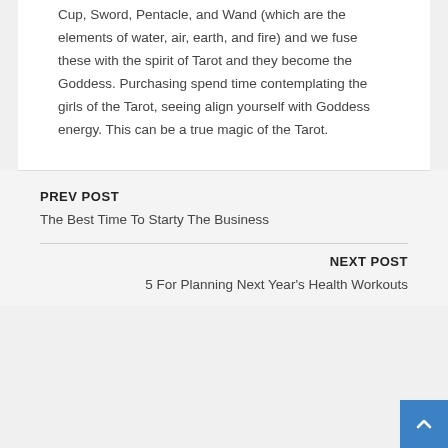Cup, Sword, Pentacle, and Wand (which are the elements of water, air, earth, and fire) and we fuse these with the spirit of Tarot and they become the Goddess. Purchasing spend time contemplating the girls of the Tarot, seeing align yourself with Goddess energy. This can be a true magic of the Tarot.
PREV POST
The Best Time To Starty The Business
NEXT POST
5 For Planning Next Year's Health Workouts